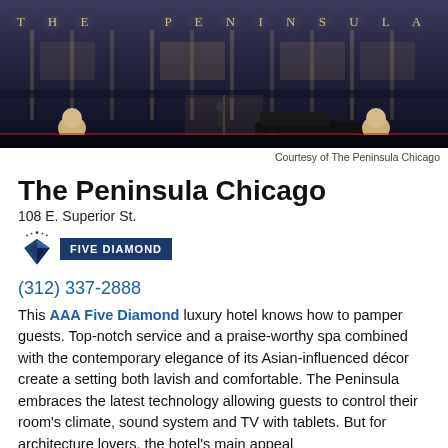[Figure (photo): Exterior night photo of The Peninsula Chicago hotel facade with illuminated sign reading 'THE PENINSULA', stone lion statues on either side, a black luxury car parked in front, and a person visible near the entrance.]
Courtesy of The Peninsula Chicago
The Peninsula Chicago
108 E. Superior St.
[Figure (logo): AAA Five Diamond badge with diamond icon and blue banner reading FIVE DIAMOND]
(312) 337-2888
This AAA Five Diamond luxury hotel knows how to pamper guests. Top-notch service and a praise-worthy spa combined with the contemporary elegance of its Asian-influenced décor create a setting both lavish and comfortable. The Peninsula embraces the latest technology allowing guests to control their room's climate, sound system and TV with tablets. But for architecture lovers, the hotel's main appeal